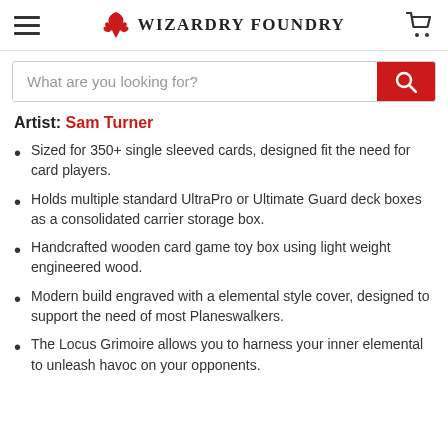Wizardry Foundry
What are you looking for?
Artist: Sam Turner
Sized for 350+ single sleeved cards, designed fit the need for card players.
Holds multiple standard UltraPro or Ultimate Guard deck boxes as a consolidated carrier storage box.
Handcrafted wooden card game toy box using light weight engineered wood.
Modern build engraved with a elemental style cover, designed to support the need of most Planeswalkers.
The Locus Grimoire allows you to harness your inner elemental to unleash havoc on your opponents.